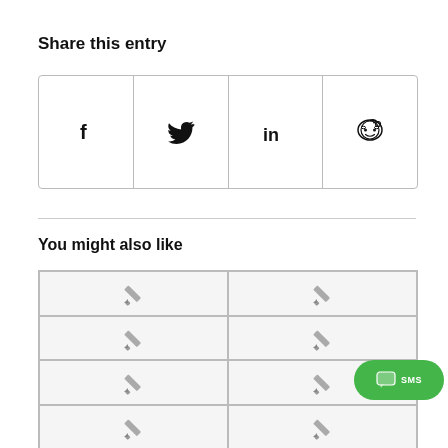Share this entry
[Figure (other): Row of social sharing icons: Facebook (f), Twitter (bird), LinkedIn (in), Reddit (alien)]
You might also like
[Figure (other): 2x4 grid of post thumbnails each showing a pencil/edit icon placeholder on light gray background]
[Figure (other): Green SMS button overlay in bottom-right corner]